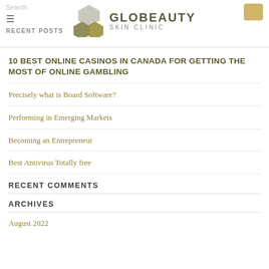Search | GLOBEAUTY SKIN CLINIC
RECENT POSTS
10 BEST ONLINE CASINOS IN CANADA FOR GETTING THE MOST OF ONLINE GAMBLING
Precisely what is Board Software?
Performing in Emerging Markets
Becoming an Entrepreneur
Best Antivirus Totally free
RECENT COMMENTS
ARCHIVES
August 2022